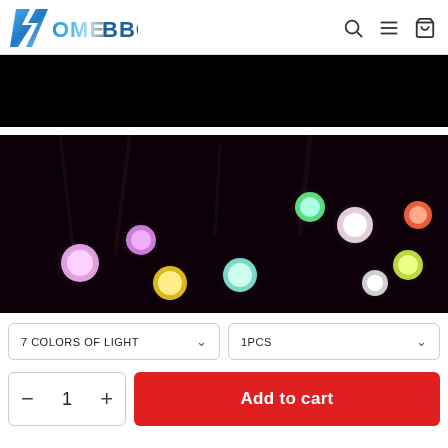HomeBBC
[Figure (photo): Black/dark banner image at top of product page]
[Figure (photo): Photo of colorful LED globe string lights glowing in dark background (pink, yellow, cyan, green, red, white bulbs)]
7 COLORS OF LIGHT
1PCS
− 1 + Add to cart